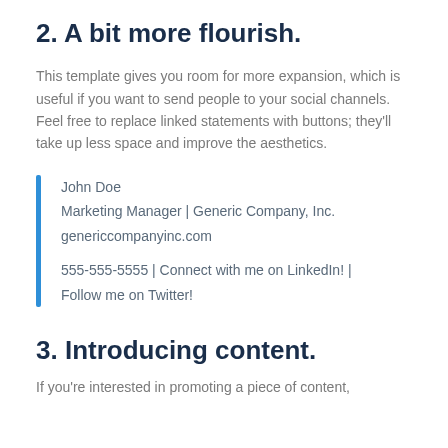2. A bit more flourish.
This template gives you room for more expansion, which is useful if you want to send people to your social channels. Feel free to replace linked statements with buttons; they'll take up less space and improve the aesthetics.
John Doe
Marketing Manager | Generic Company, Inc.
genericcompanyinc.com

555-555-5555 | Connect with me on LinkedIn! | Follow me on Twitter!
3. Introducing content.
If you're interested in promoting a piece of content,